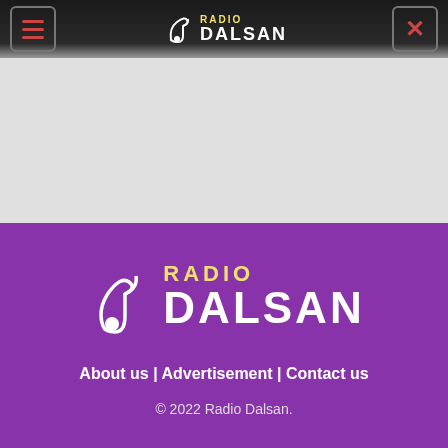Radio Dalsan — navigation header with menu and close buttons
[Figure (logo): Radio Dalsan logo in footer on purple background with music note icon, RADIO in gold and DALSAN in white]
About us | Advertisement | Contact us
© 2022 Radio Dalsan.